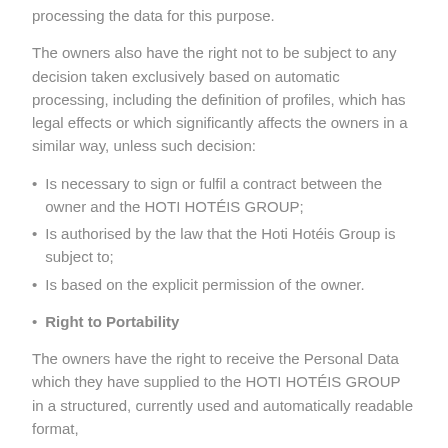processing the data for this purpose.
The owners also have the right not to be subject to any decision taken exclusively based on automatic processing, including the definition of profiles, which has legal effects or which significantly affects the owners in a similar way, unless such decision:
Is necessary to sign or fulfil a contract between the owner and the HOTI HOTÉIS GROUP;
Is authorised by the law that the Hoti Hotéis Group is subject to;
Is based on the explicit permission of the owner.
Right to Portability
The owners have the right to receive the Personal Data which they have supplied to the HOTI HOTÉIS GROUP in a structured, currently used and automatically readable format,